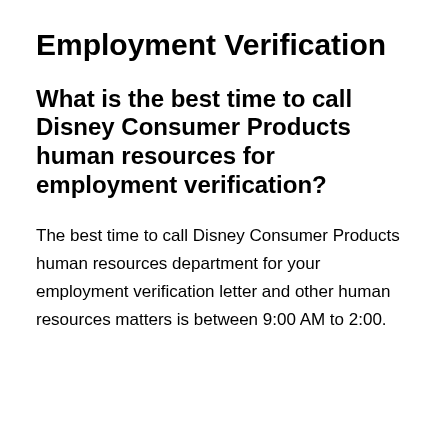Employment Verification
What is the best time to call Disney Consumer Products human resources for employment verification?
The best time to call Disney Consumer Products human resources department for your employment verification letter and other human resources matters is between 9:00 AM to 2:00.